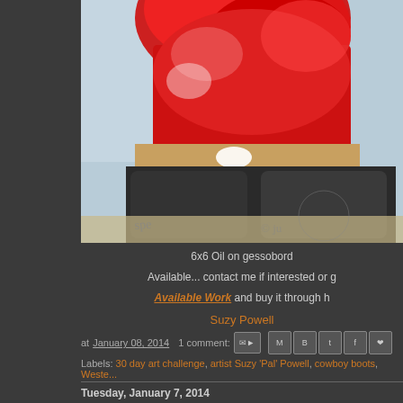[Figure (photo): Painting of a figure in red clothing with cowboy boots, oil on gessobord, partially cropped view showing lower body and boots]
6x6 Oil on gessobord
Available... contact me if interested or g
Available Work and buy it through h
Suzy Powell
at January 08, 2014  1 comment:
Labels: 30 day art challenge, artist Suzy 'Pal' Powell, cowboy boots, Weste...
Tuesday, January 7, 2014